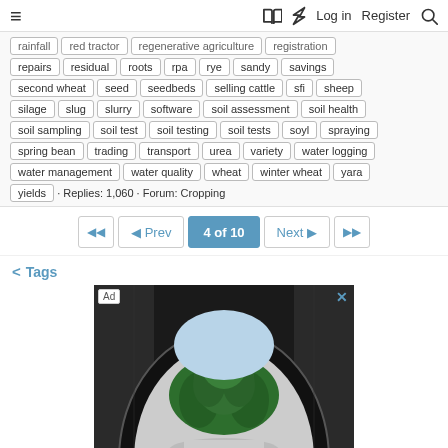≡  🔖  ⚡  Log in  Register  🔍
rainfall | red tractor | regenerative agriculture | registration
repairs | residual | roots | rpa | rye | sandy | savings
second wheat | seed | seedbeds | selling cattle | sfi | sheep
silage | slug | slurry | software | soil assessment | soil health
soil sampling | soil test | soil testing | soil tests | soyl | spraying
spring bean | trading | transport | urea | variety | water logging
water management | water quality | wheat | winter wheat | yara
yields · Replies: 1,060 · Forum: Cropping
◄◄  ◄ Prev  4 of 10  Next ►  ►►
< Tags
[Figure (photo): Advertisement showing a tunnel view with green trees visible at the end, in black and white with colorized trees. Ad badge in top left, close button (x) in top right.]